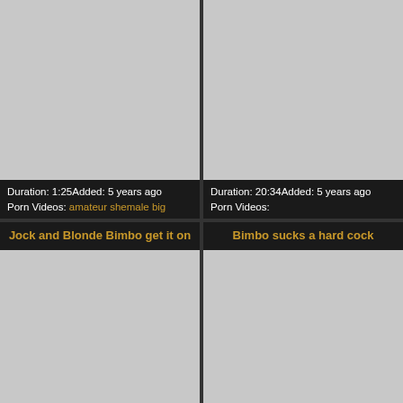[Figure (screenshot): Gray thumbnail placeholder for video 1 (top left)]
[Figure (screenshot): Gray thumbnail placeholder for video 2 (top right)]
Duration: 1:25Added: 5 years ago Porn Videos: amateur shemale big
Duration: 20:34Added: 5 years ago Porn Videos:
Jock and Blonde Bimbo get it on
Bimbo sucks a hard cock
[Figure (screenshot): Gray thumbnail placeholder for video 3 (bottom left)]
[Figure (screenshot): Gray thumbnail placeholder for video 4 (bottom right)]